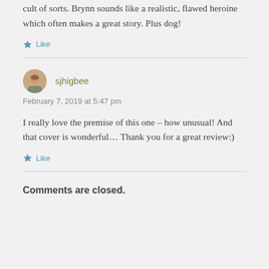cult of sorts. Brynn sounds like a realistic, flawed heroine which often makes a great story. Plus dog!
★ Like
sjhigbee
February 7, 2019 at 5:47 pm
I really love the premise of this one – how unusual! And that cover is wonderful… Thank you for a great review:)
★ Like
Comments are closed.